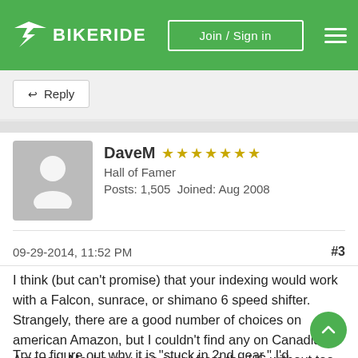BIKERIDE — Join / Sign in
Reply
DaveM ★★★★★★★ Hall of Famer Posts: 1,505  Joined: Aug 2008
09-29-2014, 11:52 PM #3
I think (but can't promise) that your indexing would work with a Falcon, sunrace, or shimano 6 speed shifter. Strangely, there are a good number of choices on american Amazon, but I couldn't find any on Canadian Amazon. Maybe you can order from the US without too much shipping cost.
Try to figure out why it is "stuck in 2nd gear." I'd be